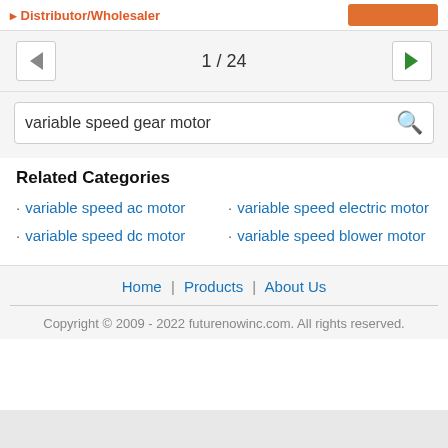Distributor/Wholesaler
1 / 24
variable speed gear motor
Related Categories
variable speed ac motor
variable speed dc motor
variable speed electric motor
variable speed blower motor
Home | Products | About Us
Copyright © 2009 - 2022 futurenowinc.com. All rights reserved.